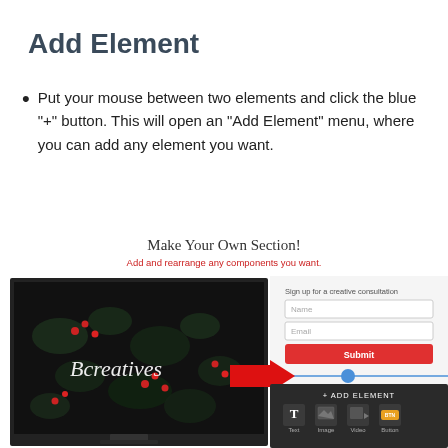Add Element
Put your mouse between two elements and click the blue "+" button. This will open an "Add Element" menu, where you can add any element you want.
Make Your Own Section!
Add and rearrange any components you want.
[Figure (screenshot): Screenshot of a website editor showing a monitor image with 'Bcreatives' text, a sign-up form with Name, Email fields and a red Submit button, a red arrow pointing right to a blue '+' button, and an '+ ADD ELEMENT' dark menu panel showing Text, Image, Video, Button icons.]